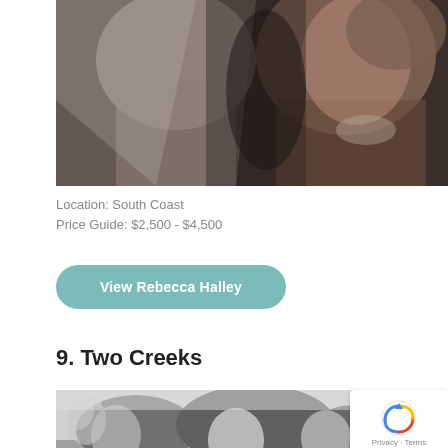[Figure (photo): Close-up romantic photo of a bride and groom looking at each other, the bride wearing a veil, warm dark tones]
Location: South Coast
Price Guide: $2,500 - $4,500
View Rebecca Halley
9. Two Creeks
[Figure (photo): Black and white photo of wedding guests laughing and celebrating outdoors with trees in background]